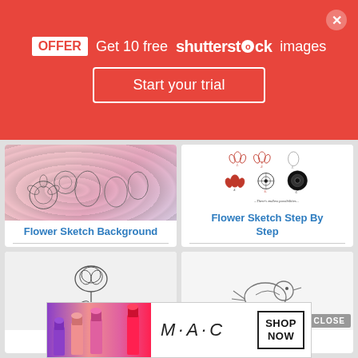[Figure (screenshot): Shutterstock promotional banner with red background offering 10 free images and a 'Start your trial' button]
[Figure (illustration): Card showing Flower Sketch Background - pencil/ink floral illustration on pink gradient background]
Flower Sketch Background
[Figure (illustration): Card showing Flower Sketch Step By Step - lotus/mandala flower drawing progression steps in red and black ink]
Flower Sketch Step By Step
[Figure (illustration): Card showing a rose pencil sketch on light gray background]
[Figure (illustration): Card showing a bird pencil sketch with CLOSE badge overlay]
[Figure (screenshot): MAC cosmetics advertisement banner showing lipsticks and SHOP NOW button]